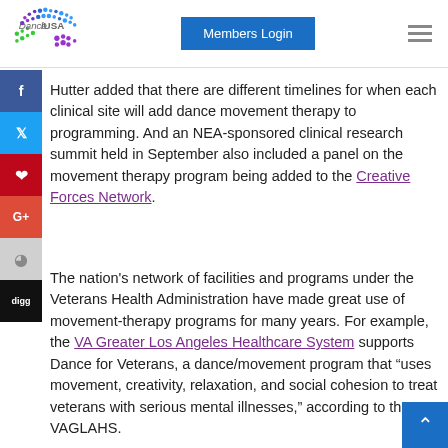[Figure (logo): Dance/USA logo with colorful dot pattern]
Members Login
Hutter added that there are different timelines for when each clinical site will add dance movement therapy to programming. And an NEA-sponsored clinical research summit held in September also included a panel on the movement therapy program being added to the Creative Forces Network.
The nation's network of facilities and programs under the Veterans Health Administration have made great use of movement-therapy programs for many years. For example, the VA Greater Los Angeles Healthcare System supports Dance for Veterans, a dance/movement program that “uses movement, creativity, relaxation, and social cohesion to treat veterans with serious mental illnesses,” according to the VAGLAHS.